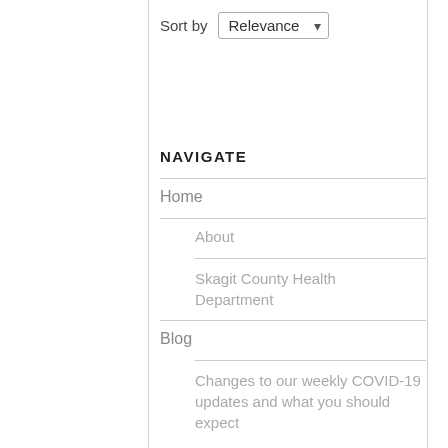Sort by Relevance
NAVIGATE
Home
About
Skagit County Health Department
Blog
Changes to our weekly COVID-19 updates and what you should expect